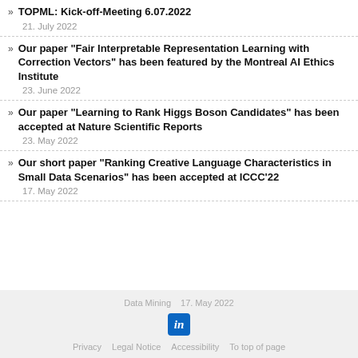TOPML: Kick-off-Meeting 6.07.2022
21. July 2022
Our paper "Fair Interpretable Representation Learning with Correction Vectors" has been featured by the Montreal AI Ethics Institute
23. June 2022
Our paper "Learning to Rank Higgs Boson Candidates" has been accepted at Nature Scientific Reports
23. May 2022
Our short paper "Ranking Creative Language Characteristics in Small Data Scenarios" has been accepted at ICCC'22
17. May 2022
Data Mining   17. May 2022
Privacy   Legal Notice   Accessibility   To top of page